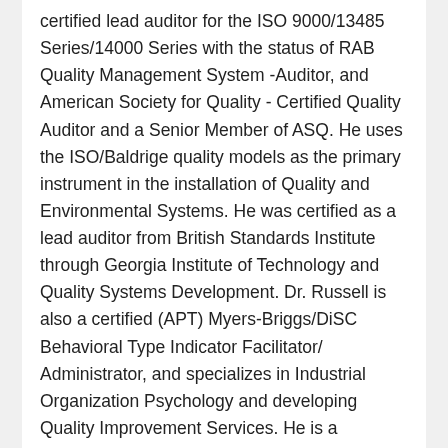certified lead auditor for the ISO 9000/13485 Series/14000 Series with the status of RAB Quality Management System -Auditor, and American Society for Quality - Certified Quality Auditor and a Senior Member of ASQ. He uses the ISO/Baldrige quality models as the primary instrument in the installation of Quality and Environmental Systems. He was certified as a lead auditor from British Standards Institute through Georgia Institute of Technology and Quality Systems Development. Dr. Russell is also a certified (APT) Myers-Briggs/DiSC Behavioral Type Indicator Facilitator/ Administrator, and specializes in Industrial Organization Psychology and developing Quality Improvement Services. He is a musician and published author of two Science Fiction novels. He is trained by Organizational Dynamics, Inc., in expert facilitation. Dean shares expertise and certification Interaction Associates and Philip Crosby Associates, Inc. at the Executive Management Quality College on